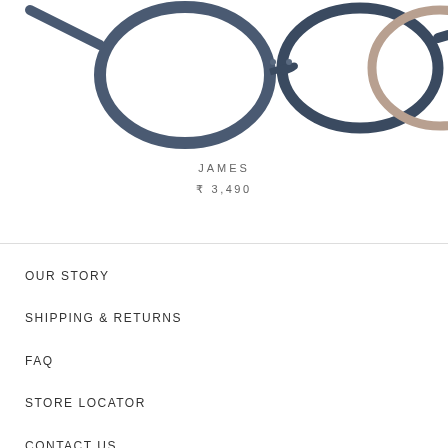[Figure (photo): Product photo of eyeglasses frames — blue/dark frame on left side and partial tan/gold round frame on right edge]
JAMES
₹ 3,490
OUR STORY
SHIPPING & RETURNS
FAQ
STORE LOCATOR
CONTACT US